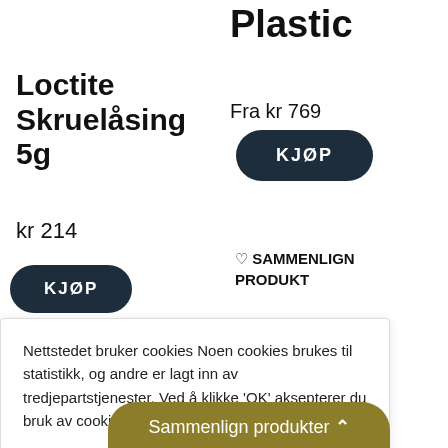Plastic
Fra kr 769
[Figure (other): KJØP button (dark rounded rectangle)]
Loctite Skruelåsing 5g
kr 214
[Figure (other): KJØP button (dark rounded rectangle, left side)]
♡ SAMMENLIGN PRODUKT
Nettstedet bruker cookies Noen cookies brukes til statistikk, og andre er lagt inn av tredjepartstjenester. Ved å klikke 'OK' aksepterer du bruk av cookies. Les mer.
Cookie innstillinger
OK
Sammenlign produkter ⌃